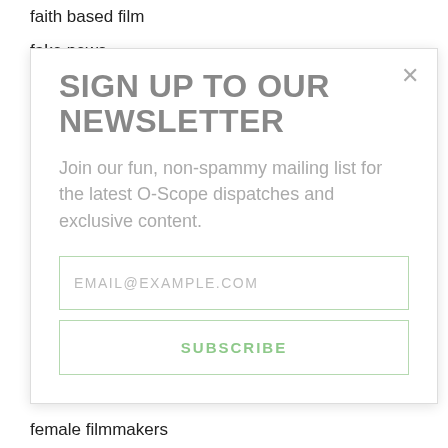faith based film
fake news
fame
farley granger
Farmacia
fascism
fatal attraction
fatboy slim
faye dunaway
fear and desire
february
female film directors
female filmmakers
female punks
Film
film blog
film criticism
SIGN UP TO OUR NEWSLETTER
Join our fun, non-spammy mailing list for the latest O-Scope dispatches and exclusive content.
EMAIL@EXAMPLE.COM
SUBSCRIBE